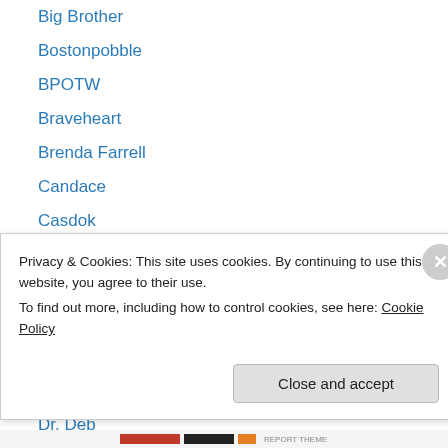Big Brother
Bostonpobble
BPOTW
Braveheart
Brenda Farrell
Candace
Casdok
Cheryoncake
Choochoo
Deb in Korea
Deb S
dinahmow
Dr. Deb
Dr. Michelle (partial, cut off)
Privacy & Cookies: This site uses cookies. By continuing to use this website, you agree to their use. To find out more, including how to control cookies, see here: Cookie Policy
Close and accept